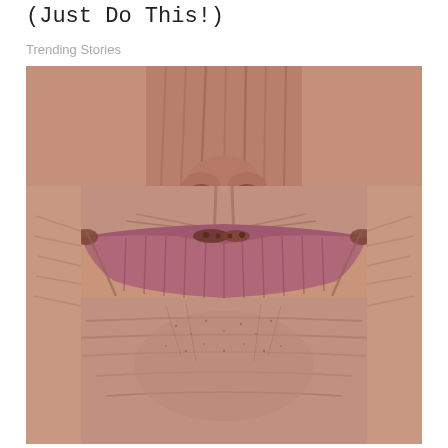(Just Do This!)
Trending Stories
[Figure (photo): Close-up photograph of an elderly person's mouth and lower face showing aged, wrinkled lips pressed together without teeth visible, with weathered skin showing fine lines and wrinkles around the mouth and chin area.]